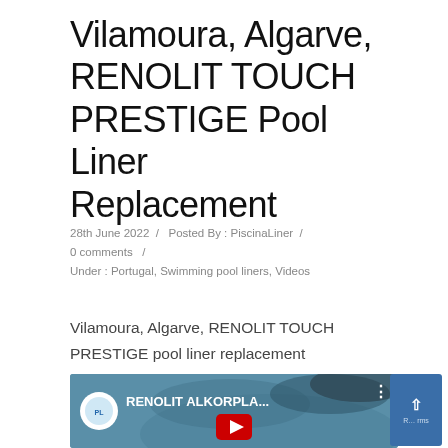Vilamoura, Algarve, RENOLIT TOUCH PRESTIGE Pool Liner Replacement
28th June 2022  /  Posted By : PiscinaLiner  /  0 comments  /  Under : Portugal, Swimming pool liners, Videos
Vilamoura, Algarve, RENOLIT TOUCH PRESTIGE pool liner replacement
[Figure (screenshot): YouTube video embed thumbnail showing a swimming pool with RENOLIT ALKORPLA... title and a red play button, with the PiscinaLiner channel icon.]